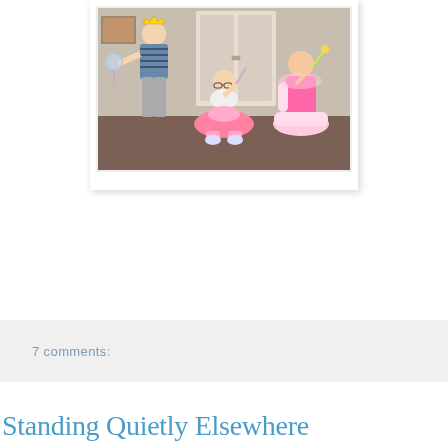[Figure (photo): Three children playing indoors. An older boy wearing a striped shirt and paper crown holds a bubble wand, a girl in pink dress and glasses sits cross-legged on the floor, and a baby in a pink sparkly outfit sits in a small chair. They appear to be celebrating or playing together in a room with a white cabinet in the background.]
7 comments:
Sunday, February 8, 2009
Standing Quietly Elsewhere